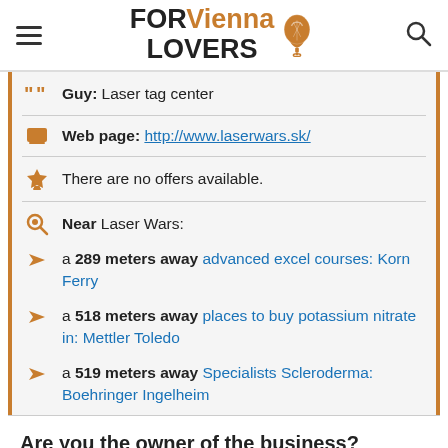FORVienna LOVERS
Guy: Laser tag center
Web page: http://www.laserwars.sk/
There are no offers available.
Near Laser Wars:
a 289 meters away advanced excel courses: Korn Ferry
a 518 meters away places to buy potassium nitrate in: Mettler Toledo
a 519 meters away Specialists Scleroderma: Boehringer Ingelheim
Are you the owner of the business? PROMOTE IT!